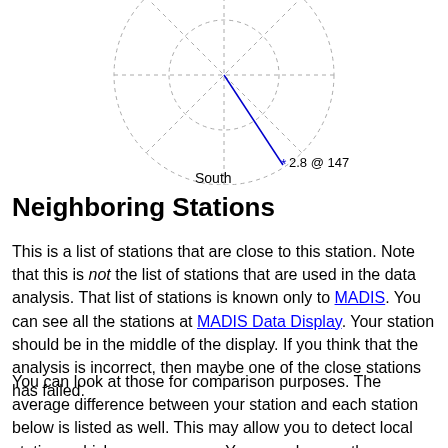[Figure (radar-chart): Polar/radar style chart showing a compass-like display with concentric dashed circles and grid lines. A blue line extends from the center toward the lower-right direction (approximately SE, 147 degrees), ending at a blue asterisk marker labeled '2.8 @ 147'. The label 'South' appears at the bottom center of the chart.]
Neighboring Stations
This is a list of stations that are close to this station. Note that this is not the list of stations that are used in the data analysis. That list of stations is known only to MADIS. You can see all the stations at MADIS Data Display. Your station should be in the middle of the display. If you think that the analysis is incorrect, then maybe one of the close stations has failed.
You can look at those for comparison purposes. The average difference between your station and each station below is listed as well. This may allow you to detect local stations which are erroneous. You can also use these numbers to adjust your instruments -- especially if a number of ASOS stations have similar